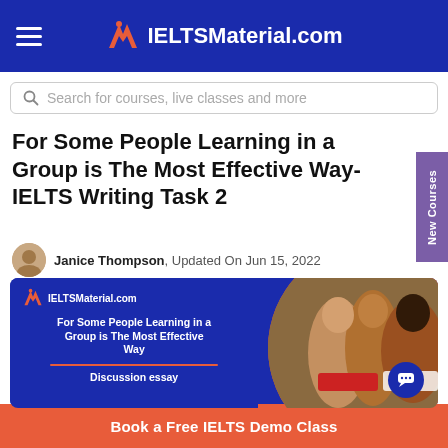IELTSMaterial.com
Search for courses, live classes and more
For Some People Learning in a Group is The Most Effective Way- IELTS Writing Task 2
Janice Thompson, Updated On Jun 15, 2022
[Figure (illustration): IELTSMaterial.com branded banner with photo of three students studying together outdoors. Left side shows dark blue background with logo, title 'For Some People Learning in a Group is The Most Effective Way' and subtitle 'Discussion essay'. Right side shows circular photo of students.]
Book a Free IELTS Demo Class